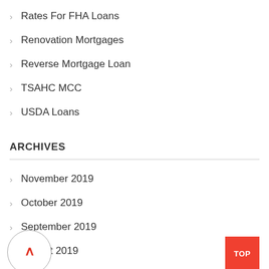Rates For FHA Loans
Renovation Mortgages
Reverse Mortgage Loan
TSAHC MCC
USDA Loans
ARCHIVES
November 2019
October 2019
September 2019
August 2019
July 2019